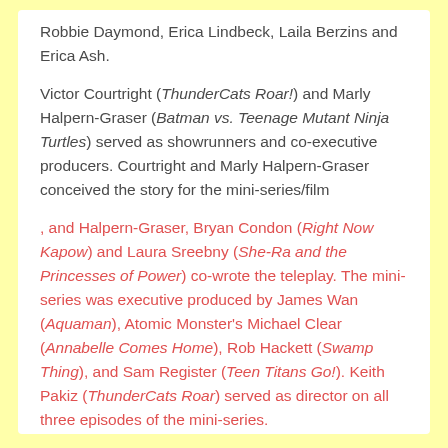Robbie Daymond, Erica Lindbeck, Laila Berzins and Erica Ash.
Victor Courtright (ThunderCats Roar!) and Marly Halpern-Graser (Batman vs. Teenage Mutant Ninja Turtles) served as showrunners and co-executive producers. Courtright and Marly Halpern-Graser conceived the story for the mini-series/film
, and Halpern-Graser, Bryan Condon (Right Now Kapow) and Laura Sreebny (She-Ra and the Princesses of Power) co-wrote the teleplay. The mini-series was executive produced by James Wan (Aquaman), Atomic Monster's Michael Clear (Annabelle Comes Home), Rob Hackett (Swamp Thing), and Sam Register (Teen Titans Go!). Keith Pakiz (ThunderCats Roar) served as director on all three episodes of the mini-series.